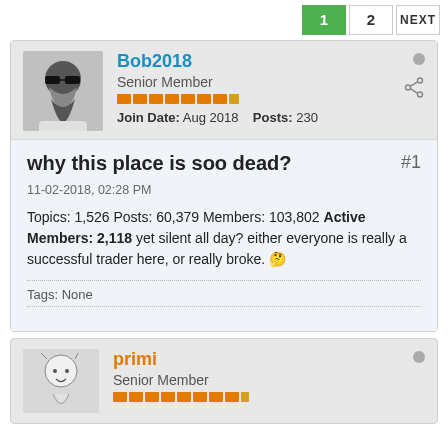1  2  NEXT
Bob2018
Senior Member
Join Date: Aug 2018  Posts: 230
why this place is soo dead?
11-02-2018, 02:28 PM
Topics: 1,526 Posts: 60,379 Members: 103,802 Active Members: 2,118 yet silent all day? either everyone is really a successful trader here, or really broke. 🤔
Tags: None
primi
Senior Member